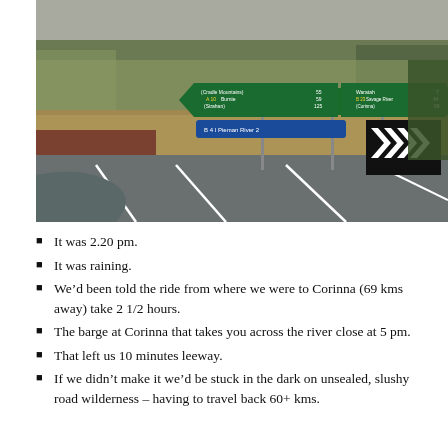[Figure (photo): Road intersection in Tasmania with green directional road signs pointing left to Cradle Mountains 55, Burnie 59, Strahan 125 (A10), and right to Waratah 7, Savage River 44, Corinna 69 (B23). A blue sign reads Pieman River 2. A black and white chevron warning sign is visible. Surrounding landscape shows grassland, trees, and overcast sky.]
It was 2.20 pm.
It was raining.
We’d been told the ride from where we were to Corinna (69 kms away) take 2 1/2 hours.
The barge at Corinna that takes you across the river close at 5 pm.
That left us 10 minutes leeway.
If we didn’t make it we’d be stuck in the dark on unsealed, slushy road wilderness – having to travel back 60+ kms.